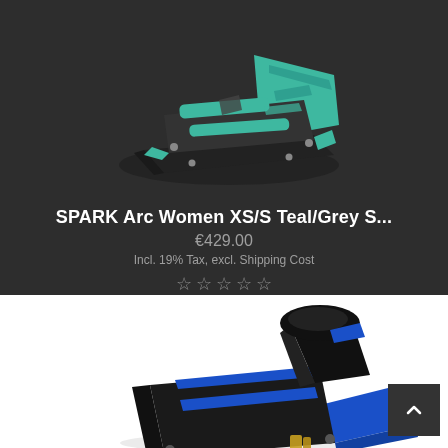[Figure (photo): Product photo of SPARK Arc Women snowboard bindings in Teal/Grey colorway, viewed from above at an angle, against a dark background.]
SPARK Arc Women XS/S Teal/Grey S...
€429.00
Incl. 19% Tax, excl. Shipping Cost
[Figure (photo): Product photo of snowboard bindings in black and blue colorway, displayed on a white background, partially visible.]